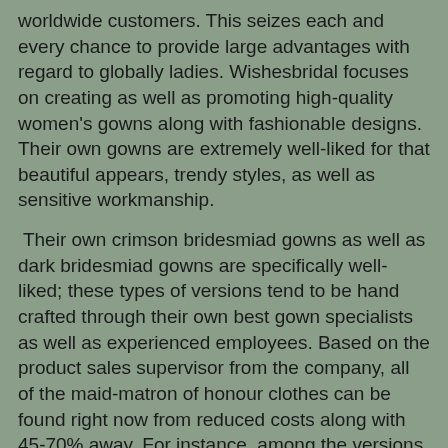worldwide customers. This seizes each and every chance to provide large advantages with regard to globally ladies. Wishesbridal focuses on creating as well as promoting high-quality women's gowns along with fashionable designs. Their own gowns are extremely well-liked for that beautiful appears, trendy styles, as well as sensitive workmanship.
Their own crimson bridesmiad gowns as well as dark bridesmiad gowns are specifically well-liked; these types of versions tend to be hand crafted through their own best gown specialists as well as experienced employees. Based on the product sales supervisor from the company, all of the maid-matron of honour clothes can be found right now from reduced costs along with 45-70% away. For instance, among the versions, Viridian Eco-friendly Cinderella A-line Scalloped Advantage Brief Sleeve Chiffon Leg Duration Bridesmiad gowns, was once costing $286, which is offered by a brand new reduced price associated with $99.
“I purchased this particular gown with regard to my personal relative as well as we wasn't certain exactly how it might match the woman's or even when the materials will be